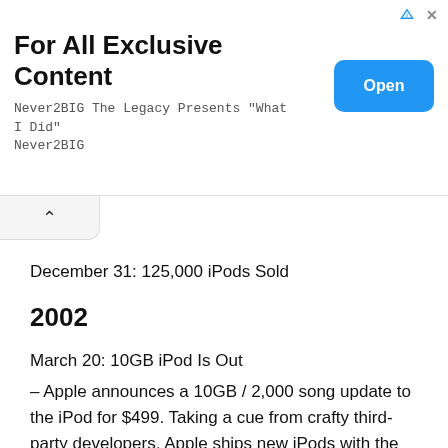[Figure (screenshot): Advertisement banner with heading 'For All Exclusive Content', subtitle text 'Never2BIG The Legacy Presents "What I Did" Never2BIG', and a blue 'Open' button on the right, with a close X and ad icon in the top right corner.]
December 31: 125,000 iPods Sold
2002
March 20: 10GB iPod Is Out
– Apple announces a 10GB / 2,000 song update to the iPod for $499. Taking a cue from crafty third-party developers, Apple ships new iPods with the ability to display business card-like contact information, a feature that makes some wonder about future PDA